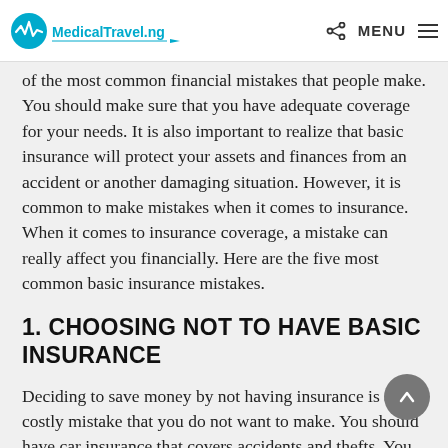MedicalTravel.ng — MENU
of the most common financial mistakes that people make. You should make sure that you have adequate coverage for your needs. It is also important to realize that basic insurance will protect your assets and finances from an accident or another damaging situation. However, it is common to make mistakes when it comes to insurance. When it comes to insurance coverage, a mistake can really affect you financially. Here are the five most common basic insurance mistakes.
1. CHOOSING NOT TO HAVE BASIC INSURANCE
Deciding to save money by not having insurance is a costly mistake that you do not want to make. You should have car insurance that covers accidents and thefts. You should have renter's or home owner's insurance to cover thefts and fire.
Additionally, you absolutely need basic health insurance. Medical bills can add up quickly, and if you do not have it, you